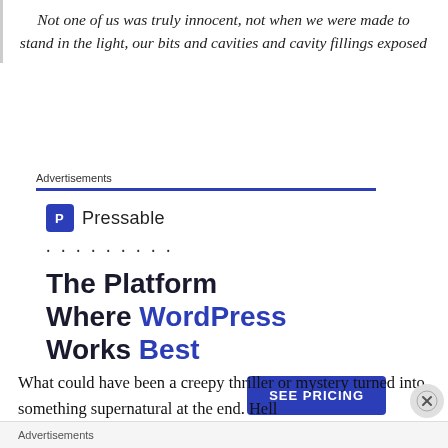Not one of us was truly innocent, not when we were made to stand in the light, our bits and cavities and cavity fillings exposed
Advertisements
[Figure (screenshot): Pressable advertisement: logo with 'P' icon and brand name, dots, headline 'The Platform Where WordPress Works Best', blue SEE PRICING button, REPORT THIS AD link]
What could have been a creepy thriller or mystery turned into something supernatural at the end. Hell
Advertisements